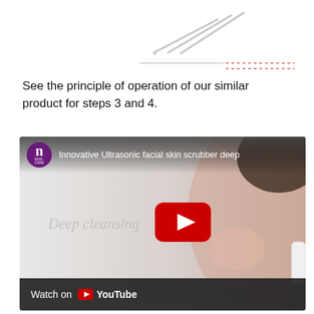[Figure (illustration): Diagram showing needles or pins with dotted lines extending to the right, indicating a product component illustration]
See the principle of operation of our similar product for steps 3 and 4.
[Figure (screenshot): YouTube video thumbnail showing 'Innovative Ultrasonic facial skin scrubber deep' with a woman using the skin scrubber device, a red YouTube play button in the center, 'Deep cleansing' text overlay, and a 'Watch on YouTube' bar at the bottom]